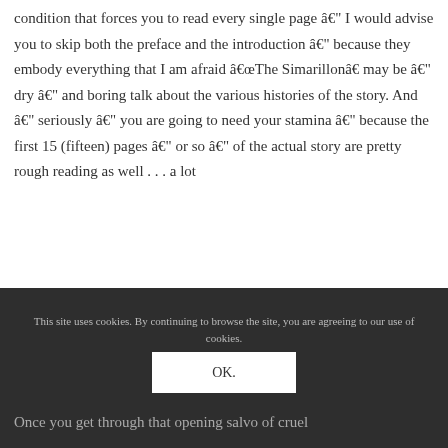condition that forces you to read every single page â€" I would advise you to skip both the preface and the introduction â€" because they embody everything that I am afraid â€œThe Silmarillonâ€ may be â€" dry â€" and boring talk about the various histories of the story. And â€" seriously â€" you are going to need your stamina â€" because the first 15 (fifteen) pages â€" or so â€" of the actual story are pretty rough reading as well . . . a lot
of he begat him â€" who â€" in turn begat this â€"
who was in that battle with which-er-ma-roo . . . and stuff.
This site uses cookies. By continuing to browse the site, you are agreeing to our use of cookies.
OK.
Once you get through that opening salvo of cruel